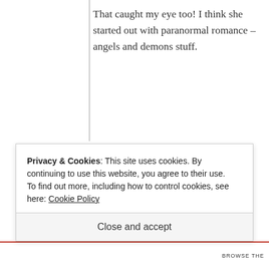That caught my eye too! I think she started out with paranormal romance – angels and demons stuff.
Comments are closed.
[Figure (illustration): Decorative ornamental divider with scrollwork and flourishes]
Privacy & Cookies: This site uses cookies. By continuing to use this website, you agree to their use.
To find out more, including how to control cookies, see here: Cookie Policy
Close and accept